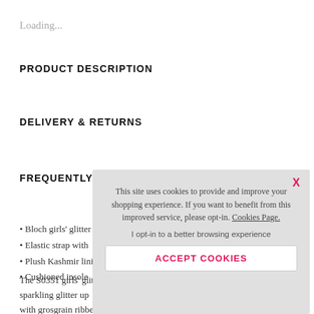Loading...
PRODUCT DESCRIPTION
DELIVERY & RETURNS
FREQUENTLY ASKED QUESTIONS
• Bloch girls' glitter
• Elastic strap with
• Plush Kashmir lini
• Cushioned insole
The S0351 girls' glit sparkling glitter up with grosgrain ribbe heel minimises rubb balance rubber pad under the ball of the foot. The soft
This site uses cookies to provide and improve your shopping experience. If you want to benefit from this improved service, please opt-in. Cookies Page.

I opt-in to a better browsing experience

ACCEPT COOKIES